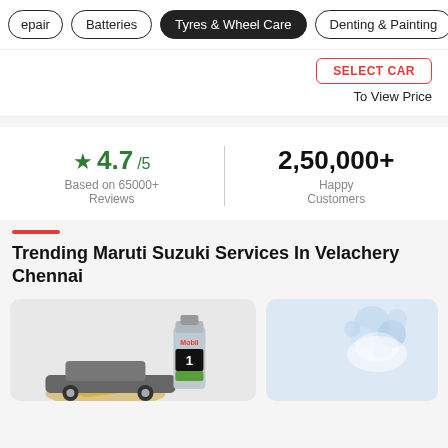Repair | Batteries | Tyres & Wheel Care | Denting & Painting
SELECT CAR
To View Price
★ 4.7/5
Based on 65000+ Reviews
2,50,000+
Happy Customers
Trending Maruti Suzuki Services In Velachery Chennai
[Figure (illustration): Mobil 1 oil bottle with car and oil splash illustration]
[Figure (illustration): Car wash with foam/bubbles illustration]